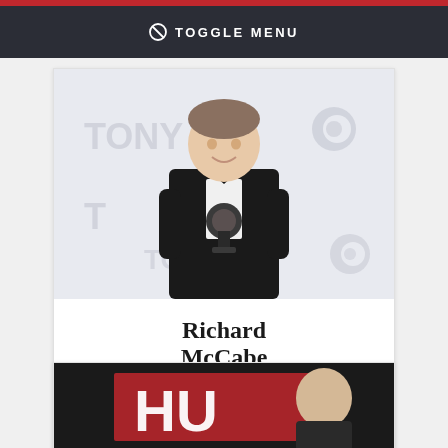⊘ TOGGLE MENU
[Figure (photo): Man in black tuxedo with bow tie holding a Tony Award trophy, standing in front of a Tony Awards / CBS backdrop]
Richard McCabe
Vote for Richard McCabe
[Figure (photo): Partial view of a person in front of a red background with text starting with 'HU']